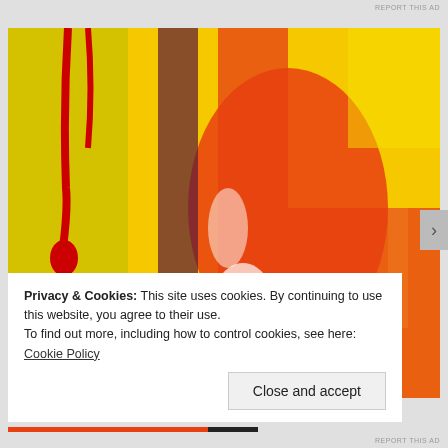REPORT THIS AD
[Figure (photo): Abstract expressionist painting with vibrant brushstrokes of yellow, red, orange, teal/green, purple, and white paint on canvas]
Privacy & Cookies: This site uses cookies. By continuing to use this website, you agree to their use.
To find out more, including how to control cookies, see here: Cookie Policy
Close and accept
REPORT THIS AD